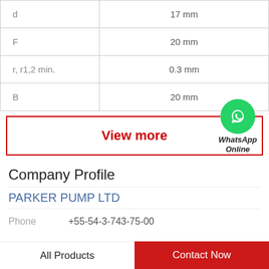| Parameter | Value |
| --- | --- |
| d | 17 mm |
| F | 20 mm |
| r, r1,2 min. | 0.3 mm |
| B | 20 mm |
View more
[Figure (logo): WhatsApp green circle icon with phone handset, labeled WhatsApp Online]
Company Profile
PARKER PUMP LTD
Phone   +55-54-3-743-75-00
All Products   Contact Now